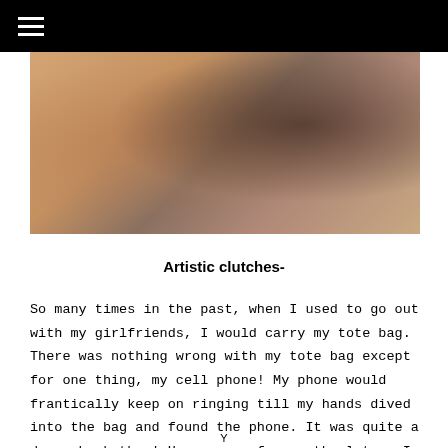[Figure (photo): Navigation bar with hamburger menu icon on black background at top of page]
[Figure (photo): Photo of a woman in a dark dress with someone holding a makeup palette, cropped to show neck and shoulder area with warm tones]
Artistic clutches-
So many times in the past, when I used to go out with my girlfriends, I would carry my tote bag. There was nothing wrong with my tote bag except for one thing, my cell phone! My phone would frantically keep on ringing till my hands dived into the bag and found the phone. It was quite a drama back then! However, a few months later, I, quite
Y